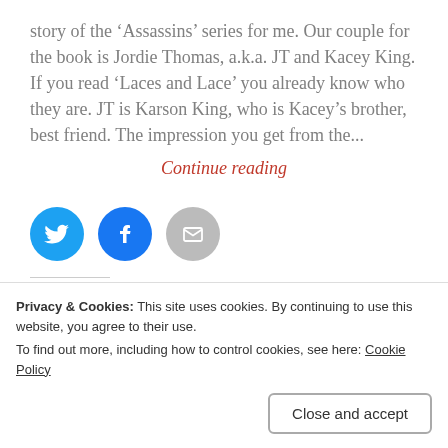story of the 'Assassins' series for me. Our couple for the book is Jordie Thomas, a.k.a. JT and Kacey King. If you read 'Laces and Lace' you already know who they are. JT is Karson King, who is Kacey's brother, best friend. The impression you get from the...
Continue reading
[Figure (infographic): Three social share icon buttons: Twitter (blue circle), Facebook (blue circle), Email (gray circle)]
Like this:
[Figure (screenshot): Like button and two avatar thumbnails]
Privacy & Cookies: This site uses cookies. By continuing to use this website, you agree to their use.
To find out more, including how to control cookies, see here: Cookie Policy
Close and accept